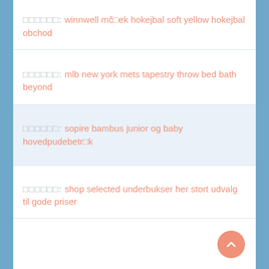□□□□□□: winnwell mčček hokejbal soft yellow hokejbal obchod
□□□□□□: mlb new york mets tapestry throw bed bath beyond
□□□□□□: sopire bambus junior og baby hovedpudebetrčk
□□□□□□: shop selected underbukser her stort udvalg til gode priser